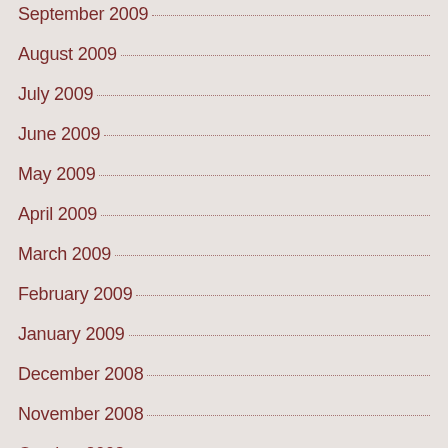September 2009
August 2009
July 2009
June 2009
May 2009
April 2009
March 2009
February 2009
January 2009
December 2008
November 2008
October 2008